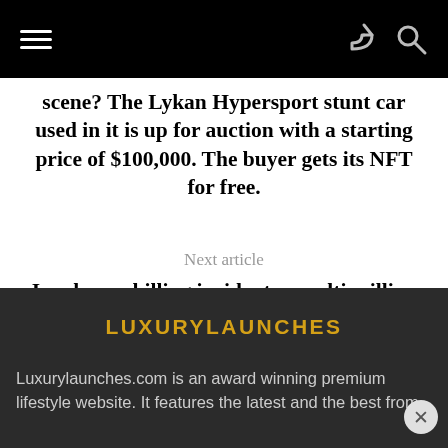Navigation bar with hamburger menu, share icon, and search icon
scene? The Lykan Hypersport stunt car used in it is up for auction with a starting price of $100,000. The buyer gets its NFT for free.
Next article
In a bone chilling incident, a multi million dollar glass bottomed bridge in China shatters to high speed winds leaving a tourist dangling 330 feet in the air
LUXURYLAUNCHES
Luxurylaunches.com is an award winning premium lifestyle website. It features the latest and the best from